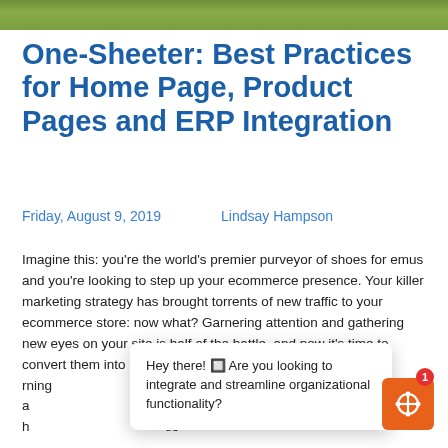[Figure (photo): Green grass/landscape banner image at top of page]
One-Sheeter: Best Practices for Home Page, Product Pages and ERP Integration
Friday, August 9, 2019    Lindsay Hampson
Imagine this: you're the world's premier purveyor of shoes for emus and you're looking to step up your ecommerce presence. Your killer marketing strategy has brought torrents of new traffic to your ecommerce store: now what? Garnering attention and gathering new eyes on your site is half of the battle, and now it's time to convert them into paying—and hopefully returning—customers. Though every ecommerce site is different, there are some guidelines that can help any retailer designing your h...
Hey there! 🔲 Are you looking to integrate and streamline organizational functionality?